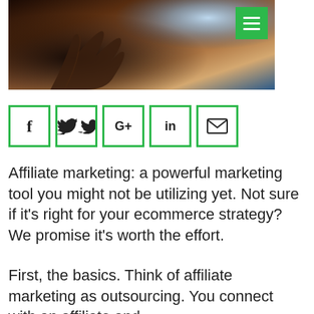[Figure (photo): Close-up photo of a hand touching or swiping a tablet or smartphone screen, with a glowing blue light effect visible in the upper right.]
[Figure (infographic): Row of five social media share buttons with green borders: Facebook (f), Twitter (bird), Google+, LinkedIn (in), and Email (envelope icon).]
Affiliate marketing: a powerful marketing tool you might not be utilizing yet. Not sure if it's right for your ecommerce strategy? We promise it's worth the effort.
First, the basics. Think of affiliate marketing as outsourcing. You connect with an affiliate and